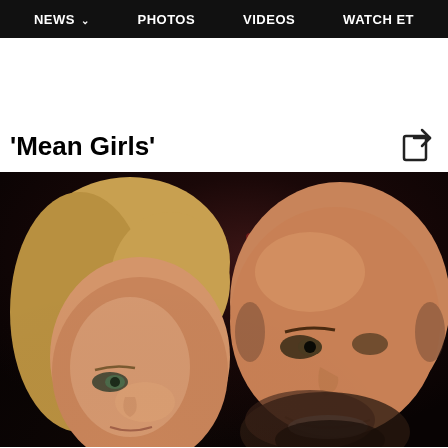NEWS  PHOTOS  VIDEOS  WATCH ET
'Mean Girls'
[Figure (photo): Two people posing for a selfie in a dark venue. On the left is a woman with blonde hair. On the right is a bald man with a beard, smiling. Background shows dark colors with red bokeh lights.]